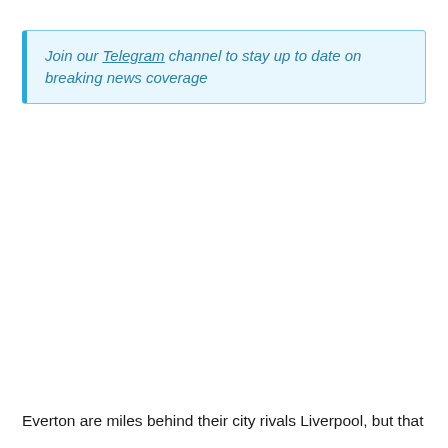Join our Telegram channel to stay up to date on breaking news coverage
Everton are miles behind their city rivals Liverpool, but that